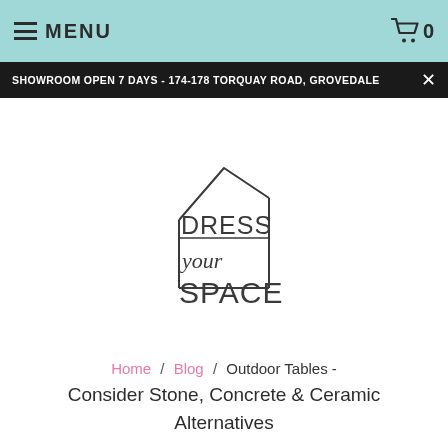MENU | cart 0
SHOWROOM OPEN 7 DAYS - 174-178 TORQUAY ROAD, GROVEDALE
[Figure (logo): Dress Your Space logo — house outline with text DRESS your SPACE]
Home / Blog / Outdoor Tables - Consider Stone, Concrete & Ceramic Alternatives